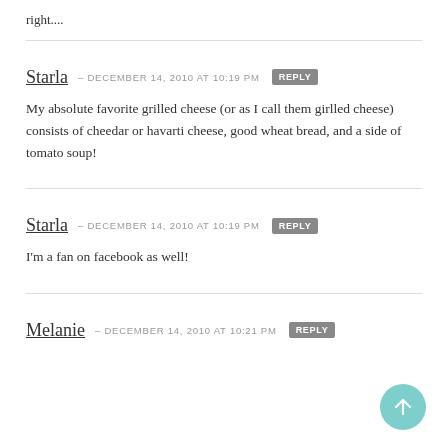right....
Starla — DECEMBER 14, 2010 at 10:19 PM  REPLY
My absolute favorite grilled cheese (or as I call them girlled cheese) consists of cheedar or havarti cheese, good wheat bread, and a side of tomato soup!
Starla — DECEMBER 14, 2010 at 10:19 PM  REPLY
I'm a fan on facebook as well!
Melanie — DECEMBER 14, 2010 at 10:21 PM  REPLY